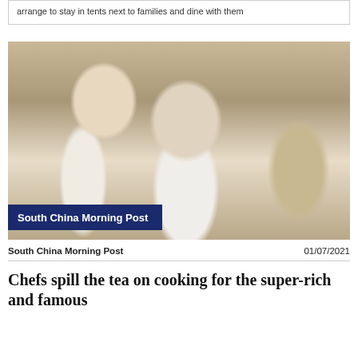arrange to stay in tents next to families and dine with them
[Figure (photo): Two men posing together, one in a sports jacket (Adidas) giving thumbs up, the other in a white chef uniform, with a trophy visible in the background. South China Morning Post logo overlay in bottom left.]
South China Morning Post	01/07/2021
Chefs spill the tea on cooking for the super-rich and famous